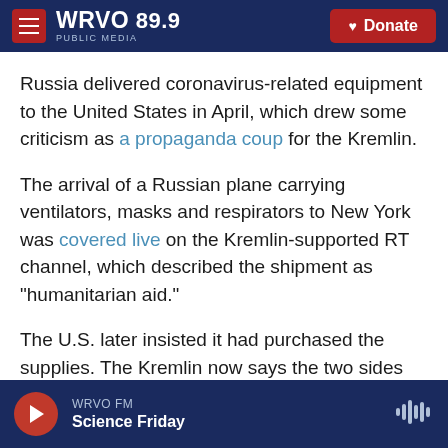WRVO 89.9 PUBLIC MEDIA — Donate
Russia delivered coronavirus-related equipment to the United States in April, which drew some criticism as a propaganda coup for the Kremlin.
The arrival of a Russian plane carrying ventilators, masks and respirators to New York was covered live on the Kremlin-supported RT channel, which described the shipment as "humanitarian aid."
The U.S. later insisted it had purchased the supplies. The Kremlin now says the two sides split the bill.
WRVO FM — Science Friday